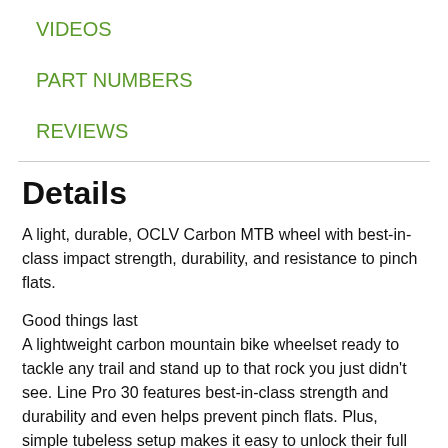VIDEOS
PART NUMBERS
REVIEWS
Details
A light, durable, OCLV Carbon MTB wheel with best-in-class impact strength, durability, and resistance to pinch flats.
Good things last
A lightweight carbon mountain bike wheelset ready to tackle any trail and stand up to that rock you just didn't see. Line Pro 30 features best-in-class strength and durability and even helps prevent pinch flats. Plus, simple tubeless setup makes it easy to unlock their full potential and run lower pressure for more confidence and a